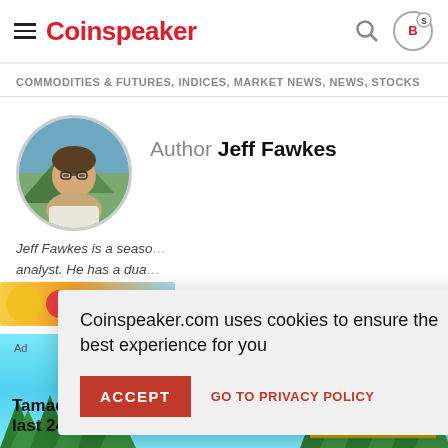Coinspeaker
COMMODITIES & FUTURES, INDICES, MARKET NEWS, NEWS, STOCKS
Author Jeff Fawkes
Jeff Fawkes is a seasoned market analyst. He has a dual background in Writing and is passionate about our society.
Coinspeaker.com uses cookies to ensure the best experience for you
ACCEPT  GO TO PRIVACY POLICY
Tamadoge raises $500k in last 24 hours
READ MORE